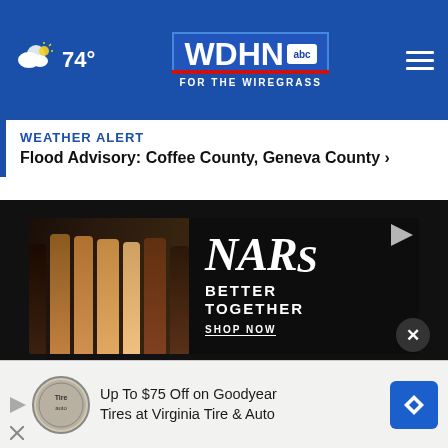74° WDHN abc FOR THE WIREGRASS
WEATHER ALERT
Flood Advisory: Coffee County, Geneva County >
[Figure (screenshot): NARS cosmetics advertisement: 'BETTER TOGETHER SHOP NOW']
[Figure (photo): Blurred sports/tennis action photo with dark background and yellow circle]
[Figure (infographic): Bottom advertisement: Up To $75 Off on Goodyear Tires at Virginia Tire & Auto]